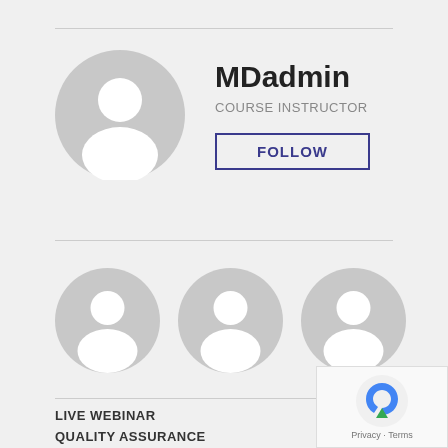[Figure (illustration): Large circular gray placeholder avatar icon for user profile]
MDadmin
COURSE INSTRUCTOR
FOLLOW
[Figure (illustration): Three small circular gray placeholder avatar icons in a row]
LIVE WEBINAR
QUALITY ASSURANCE
RECORDED WEBINAR
(4)